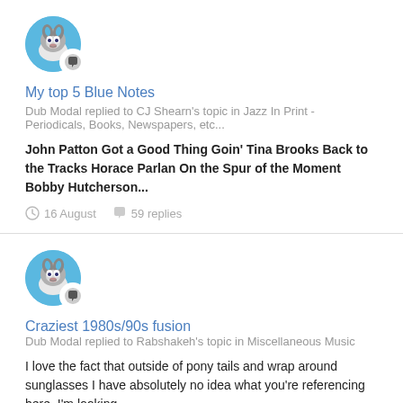[Figure (illustration): Husky dog avatar with chat bubble badge, first post]
My top 5 Blue Notes
Dub Modal replied to CJ Shearn's topic in Jazz In Print - Periodicals, Books, Newspapers, etc...
John Patton Got a Good Thing Goin' Tina Brooks Back to the Tracks Horace Parlan On the Spur of the Moment Bobby Hutcherson...
16 August   59 replies
[Figure (illustration): Husky dog avatar with chat bubble badge, second post]
Craziest 1980s/90s fusion
Dub Modal replied to Rabshakeh's topic in Miscellaneous Music
I love the fact that outside of pony tails and wrap around sunglasses I have absolutely no idea what you're referencing here. I'm looking...
16 August   27 replies
[Figure (illustration): Husky dog avatar, third post (partially visible)]